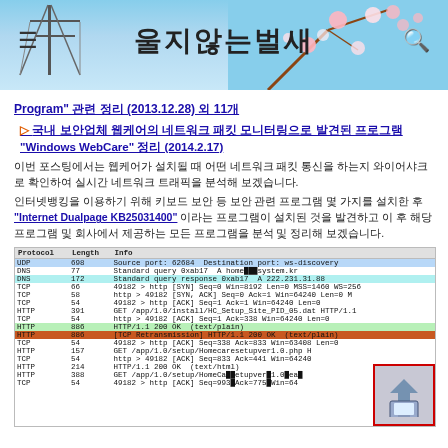[Figure (screenshot): Blog header with Korean title 울지않는벌새, menu icon, search icon, cherry blossom and tower background]
Program" 관련 정리 (2013.12.28) 외 11개
▷ 국내 보안업체 웹케어의 네트워크 패킷 모니터링으로 발견된 프로그램 "Windows WebCare" 정리 (2014.2.17)
이번 포스팅에서는 웹케어가 설치될 때 어떤 네트워크 패킷 통신을 하는지 와이어샤크로 확인하여 실시간 네트워크 트래픽을 분석해 보겠습니다.
인터넷뱅킹을 이용하기 위해 키보드 보안 등 보안 관련 프로그램 몇 가지를 설치한 후 "Internet Dualpage KB25031400" 이라는 프로그램이 설치된 것을 발견하고 이 후 해당 프로그램 및 회사에서 제공하는 모든 프로그램을 분석 및 정리해 보겠습니다.
[Figure (screenshot): Wireshark network packet capture showing UDP, DNS, TCP, HTTP packets with protocol, length, and info columns]